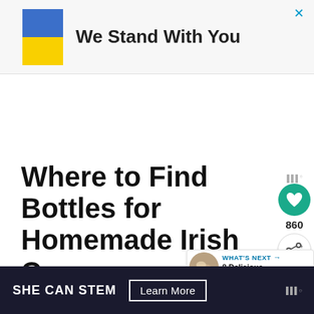[Figure (infographic): Advertisement banner with Ukrainian flag (blue and yellow) and text 'We Stand With You'. Close X button in top right.]
Where to Find Bottles for Homemade Irish Cream
[Figure (infographic): Social share sidebar with heart button (teal circle, heart icon), count 860, and share button.]
[Figure (infographic): What's Next panel: thumbnail image of Irish cream dish, label 'WHAT'S NEXT →', text '8 Delicious Irish Cream...']
Many stores and online retailers sell fo bottles and jars. Here are a few ideas of where to lo
[Figure (infographic): Bottom advertisement: dark background, 'SHE CAN STEM' brand text, 'Learn More' button.]